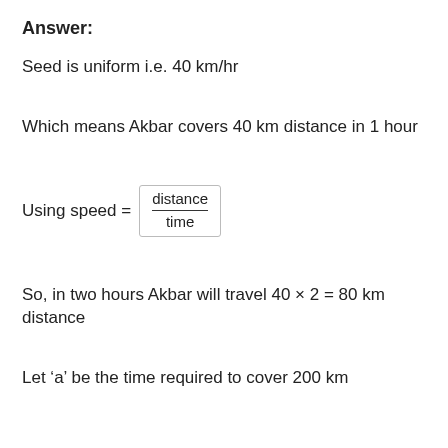Answer:
Seed is uniform i.e. 40 km/hr
Which means Akbar covers 40 km distance in 1 hour
So, in two hours Akbar will travel 40 × 2 = 80 km distance
Let ‘a’ be the time required to cover 200 km